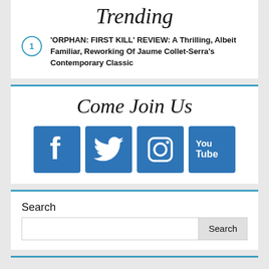Trending
'ORPHAN: FIRST KILL' REVIEW: A Thrilling, Albeit Familiar, Reworking Of Jaume Collet-Serra's Contemporary Classic
Come Join Us
[Figure (infographic): Four social media icon buttons: Facebook, Twitter, Instagram, YouTube — all in blue square tiles]
Search
[Figure (screenshot): Search input box with Search button]